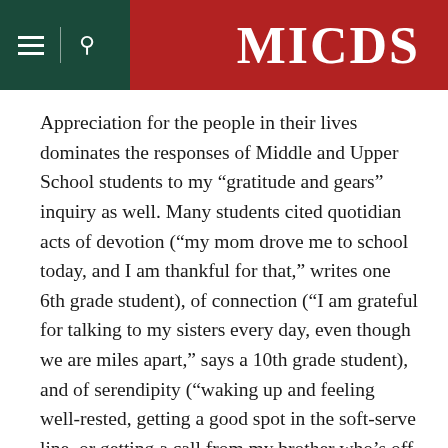MICDS
Appreciation for the people in their lives dominates the responses of Middle and Upper School students to my “gratitude and gears” inquiry as well. Many students cited quotidian acts of devotion (“my mom drove me to school today, and I am thankful for that,” writes one 6th grade student), of connection (“I am grateful for talking to my sisters every day, even though we are miles apart,” says a 10th grade student), and of serendipity (“waking up and feeling well-rested, getting a good spot in the soft-serve line, or getting a call from my brother who’s off at college,” says a 9th grade student). Thanks also abound for more generalized support. “I am grateful for my